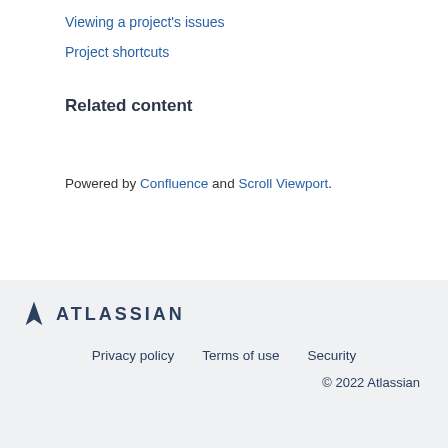Viewing a project's issues
Project shortcuts
Related content
Powered by Confluence and Scroll Viewport.
ATLASSIAN  Privacy policy  Terms of use  Security  © 2022 Atlassian